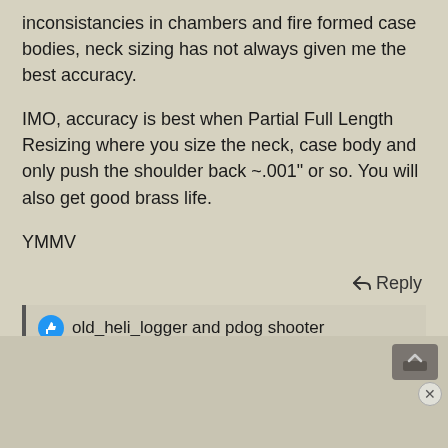inconsistancies in chambers and fire formed case bodies, neck sizing has not always given me the best accuracy.
IMO, accuracy is best when Partial Full Length Resizing where you size the neck, case body and only push the shoulder back ~.001" or so. You will also get good brass life.
YMMV
Reply
old_heli_logger and pdog shooter